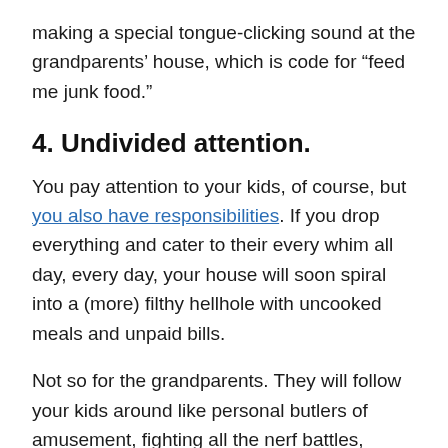making a special tongue-clicking sound at the grandparents' house, which is code for “feed me junk food.”
4. Undivided attention.
You pay attention to your kids, of course, but you also have responsibilities. If you drop everything and cater to their every whim all day, every day, your house will soon spiral into a (more) filthy hellhole with uncooked meals and unpaid bills.
Not so for the grandparents. They will follow your kids around like personal butlers of amusement, fighting all the nerf battles, playing all the board games, and doing all the crafts. Your children will